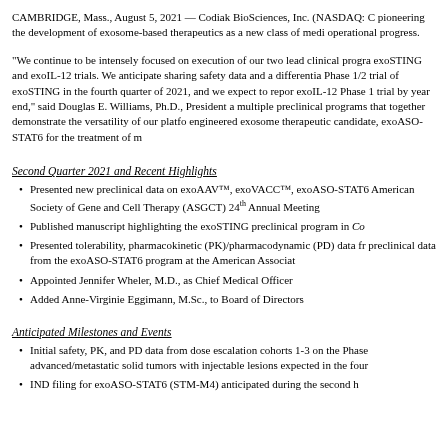CAMBRIDGE, Mass., August 5, 2021 — Codiak BioSciences, Inc. (NASDAQ: C pioneering the development of exosome-based therapeutics as a new class of medi operational progress.
“We continue to be intensely focused on execution of our two lead clinical progra exoSTING and exoIL-12 trials. We anticipate sharing safety data and a differentia Phase 1/2 trial of exoSTING in the fourth quarter of 2021, and we expect to repor exoIL-12 Phase 1 trial by year end,” said Douglas E. Williams, Ph.D., President a multiple preclinical programs that together demonstrate the versatility of our platfo engineered exosome therapeutic candidate, exoASO-STAT6 for the treatment of m
Second Quarter 2021 and Recent Highlights
Presented new preclinical data on exoAAV™, exoVACC™, exoASO-STAT6 American Society of Gene and Cell Therapy (ASGCT) 24th Annual Meeting
Published manuscript highlighting the exoSTING preclinical program in Co
Presented tolerability, pharmacokinetic (PK)/pharmacodynamic (PD) data fr preclinical data from the exoASO-STAT6 program at the American Associat
Appointed Jennifer Wheler, M.D., as Chief Medical Officer
Added Anne-Virginie Eggimann, M.Sc., to Board of Directors
Anticipated Milestones and Events
Initial safety, PK, and PD data from dose escalation cohorts 1-3 on the Phase advanced/metastatic solid tumors with injectable lesions expected in the four
IND filing for exoASO-STAT6 (STM-M4) anticipated during the second h